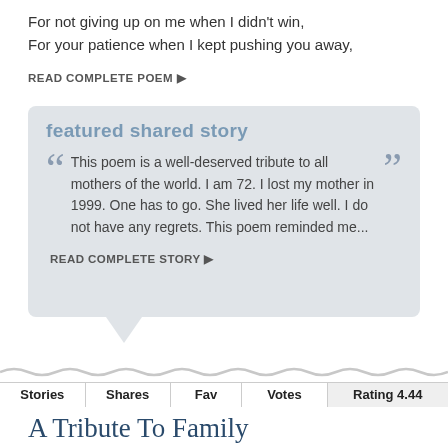For not giving up on me when I didn't win,
For your patience when I kept pushing you away,
READ COMPLETE POEM ▶
featured shared story
This poem is a well-deserved tribute to all mothers of the world. I am 72. I lost my mother in 1999. One has to go. She lived her life well. I do not have any regrets. This poem reminded me...
READ COMPLETE STORY ▶
| Stories | Shares | Fav | Votes | Rating 4.44 |
| --- | --- | --- | --- | --- |
| 4 | 7222 | 54 | 2476 | ★★★★½ |
A Tribute To Family